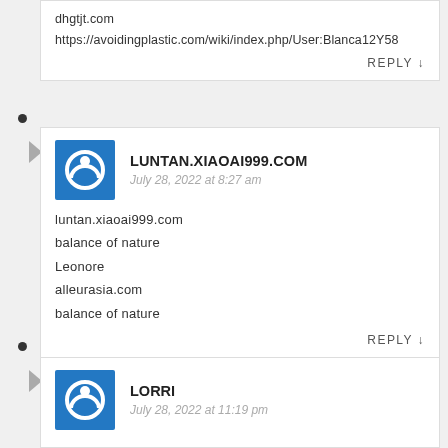dhgtjt.com
https://avoidingplastic.com/wiki/index.php/User:Blanca12Y58
REPLY ↓
LUNTAN.XIAOAI999.COM
July 28, 2022 at 8:27 am
luntan.xiaoai999.com
balance of nature
Leonore
alleurasia.com
balance of nature
REPLY ↓
LORRI
July 28, 2022 at 11:19 pm